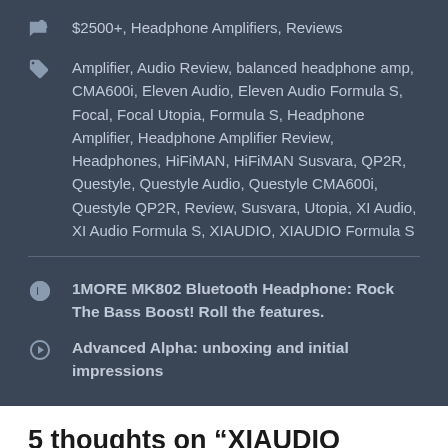$2500+, Headphone Amplifiers, Reviews
Amplifier, Audio Review, balanced headphone amp, CMA600i, Eleven Audio, Eleven Audio Formula S, Focal, Focal Utopia, Formula S, Headphone Amplifier, Headphone Amplifier Review, Headphones, HiFiMAN, HiFiMAN Susvara, QP2R, Questyle, Questyle Audio, Questyle CMA600i, Questyle QP2R, Review, Susvara, Utopia, XI Audio, XI Audio Formula S, XIAUDIO, XIAUDIO Formula S
1MORE MK802 Bluetooth Headphone: Rock The Bass Boost! Roll the features.
Advanced Alpha: unboxing and initial impressions
5 thoughts on “XIAUDIO (Eleven Audio) Formula S: Power and clarity sublimated”